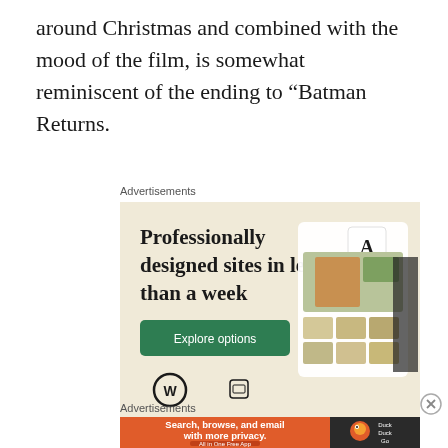around Christmas and combined with the mood of the film, is somewhat reminiscent of the ending to “Batman Returns.
Advertisements
[Figure (illustration): WordPress advertisement: beige background with headline 'Professionally designed sites in less than a week', green 'Explore options' button, WordPress logo, and mockup of website design screens on right side]
Advertisements
[Figure (illustration): DuckDuckGo advertisement banner: orange left section with text 'Search, browse, and email with more privacy. All in One Free App', dark right section with DuckDuckGo duck logo and brand name]